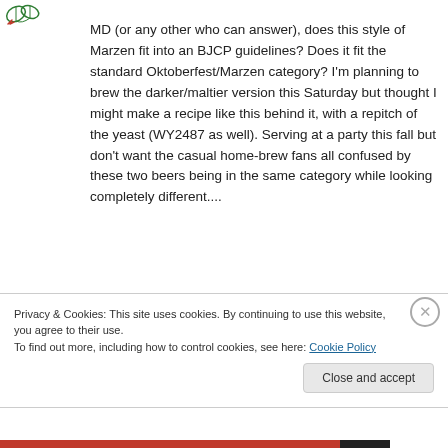[Figure (logo): Small green hop/leaf logo icon in top left corner]
MD (or any other who can answer), does this style of Marzen fit into an BJCP guidelines? Does it fit the standard Oktoberfest/Marzen category? I'm planning to brew the darker/maltier version this Saturday but thought I might make a recipe like this behind it, with a repitch of the yeast (WY2487 as well). Serving at a party this fall but don't want the casual home-brew fans all confused by these two beers being in the same category while looking completely different....
Privacy & Cookies: This site uses cookies. By continuing to use this website, you agree to their use.
To find out more, including how to control cookies, see here: Cookie Policy
Close and accept